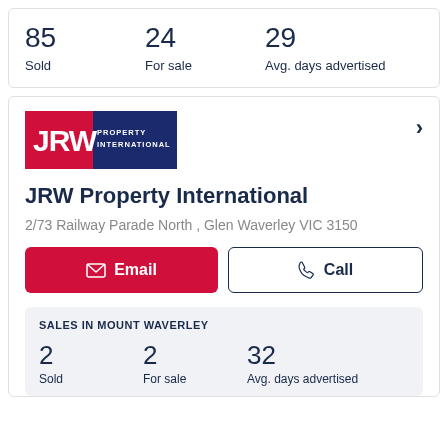85 Sold
24 For sale
29 Avg. days advertised
[Figure (logo): JRW Property International logo with red and navy blue blocks]
JRW Property International
2/73 Railway Parade North , Glen Waverley VIC 3150
Email
Call
SALES IN MOUNT WAVERLEY
2 Sold
2 For sale
32 Avg. days advertised